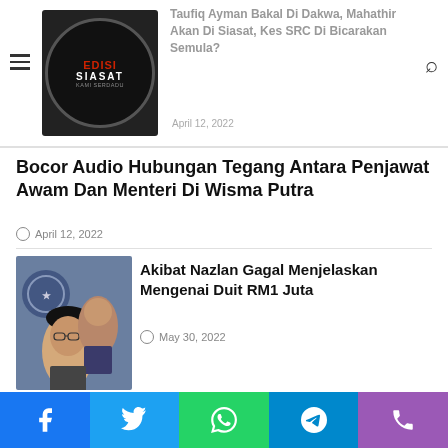Edisi Siasat — navigation header with hamburger menu, logo, article preview link, and search icon
Bocor Audio Hubungan Tegang Antara Penjawat Awam Dan Menteri Di Wisma Putra
April 12, 2022
[Figure (photo): Two men in formal attire, one wearing a black cap and glasses]
Akibat Nazlan Gagal Menjelaskan Mengenai Duit RM1 Juta
May 30, 2022
Akhirnya Taufiq Ayman Akan Di Dakwa
April 13, 2022
Social share bar: Facebook, Twitter, WhatsApp, Telegram, Phone